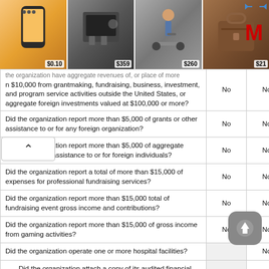[Figure (other): Advertisement banner with product images (phone, computer hardware, scooter, bag) and price tags ($0.10, $359, $260), with a retailer logo (M) in top right corner]
| Question | Col1 | Col2 |
| --- | --- | --- |
| the organization have aggregate revenues of, or place of more n $10,000 from grantmaking, fundraising, business, investment, and program service activities outside the United States, or aggregate foreign investments valued at $100,000 or more? | No | No |
| Did the organization report more than $5,000 of grants or other assistance to or for any foreign organization? | No | No |
| Did the organization report more than $5,000 of aggregate grants or other assistance to or for foreign individuals? | No | No |
| Did the organization report a total of more than $15,000 of expenses for professional fundraising services? | No | No |
| Did the organization report more than $15,000 total of fundraising event gross income and contributions? | No | No |
| Did the organization report more than $15,000 of gross income from gaming activities? | No | No |
| Did the organization operate one or more hospital facilities? | No | No |
| Did the organization attach a copy of its audited financial statements? |  | No |
| Did the organization report more than $5,000 of grants or other |  |  |